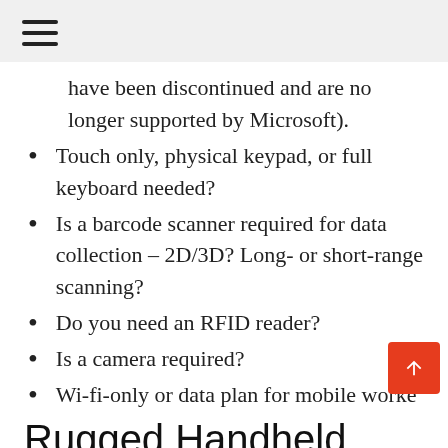☰ (hamburger menu icon)
have been discontinued and are no longer supported by Microsoft).
Touch only, physical keypad, or full keyboard needed?
Is a barcode scanner required for data collection – 2D/3D? Long- or short-range scanning?
Do you need an RFID reader?
Is a camera required?
Wi-fi-only or data plan for mobile worke…
Rugged Handheld Solutions